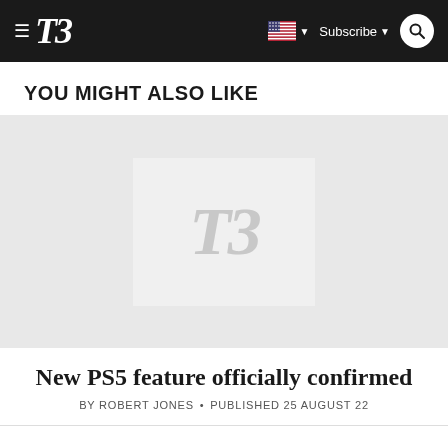T3 — Subscribe — Search
YOU MIGHT ALSO LIKE
[Figure (photo): Placeholder image with T3 watermark logo in gray on light gray background]
New PS5 feature officially confirmed
BY ROBERT JONES • PUBLISHED 25 AUGUST 22